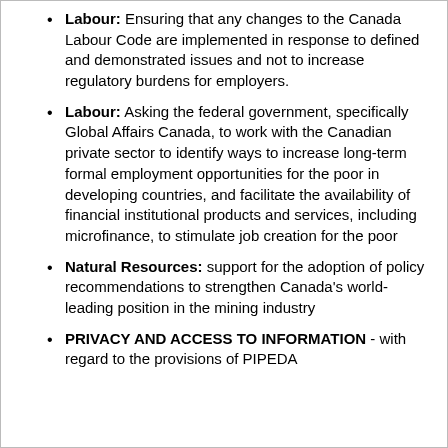Labour: Ensuring that any changes to the Canada Labour Code are implemented in response to defined and demonstrated issues and not to increase regulatory burdens for employers.
Labour: Asking the federal government, specifically Global Affairs Canada, to work with the Canadian private sector to identify ways to increase long-term formal employment opportunities for the poor in developing countries, and facilitate the availability of financial institutional products and services, including microfinance, to stimulate job creation for the poor
Natural Resources: support for the adoption of policy recommendations to strengthen Canada's world-leading position in the mining industry
PRIVACY AND ACCESS TO INFORMATION - with regard to the provisions of PIPEDA